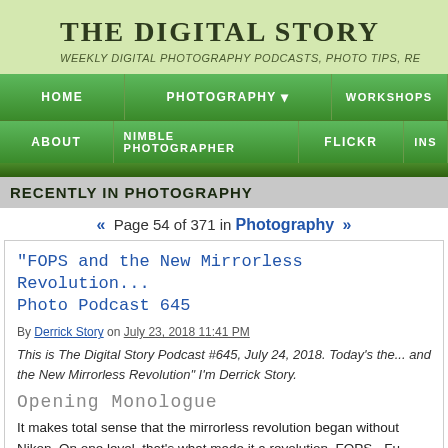THE DIGITAL STORY
WEEKLY DIGITAL PHOTOGRAPHY PODCASTS, PHOTO TIPS, RE...
HOME | PHOTOGRAPHY | WORKSHOPS | ABOUT | NIMBLE PHOTOGRAPHER | FLICKR | INS
RECENTLY IN PHOTOGRAPHY
« Page 54 of 371 in Photography »
"FOPS and the New Mirrorless Revolution... Photo Podcast 645
By Derrick Story on July 23, 2018 11:41 PM
This is The Digital Story Podcast #645, July 24, 2018. Today's the... and the New Mirrorless Revolution" I'm Derrick Story.
Opening Monologue
It makes total sense that the mirrorless revolution began without Nikon. On one level, that's what made it a revolution. FOPS - Fu... Panasonic, and later, Sony - previous underdogs, blazed the trai...